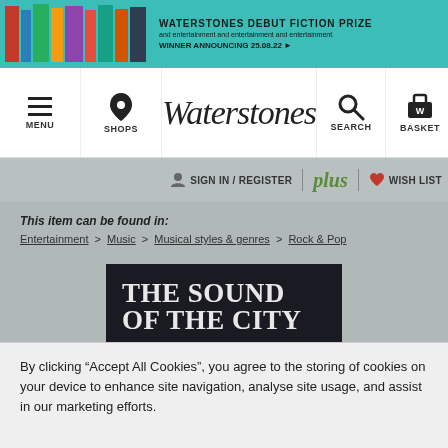[Figure (screenshot): Waterstones website banner ad for Debut Fiction Prize with teal background and colorful book spines]
Waterstones — MENU | SHOPS | SEARCH | BASKET
SIGN IN / REGISTER | plus | WISH LIST
This item can be found in: Entertainment > Music > Musical styles & genres > Rock & Pop
[Figure (photo): Book cover of 'The Sound of the City: The Rise of Rock & Roll' with dark background and gold/white serif text]
By clicking "Accept All Cookies", you agree to the storing of cookies on your device to enhance site navigation, analyse site usage, and assist in our marketing efforts.